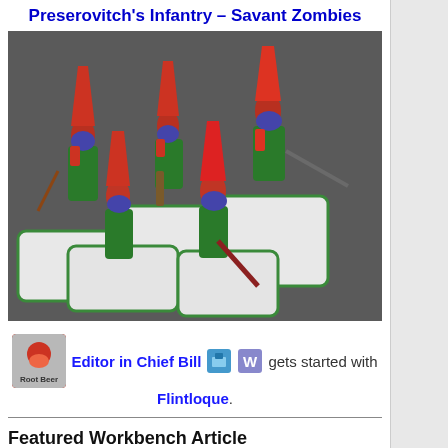Preserovitch's Infantry – Savant Zombies
[Figure (photo): Painted miniature figurines of Savant Zombies from Flintloque, wearing red hats and green coats, posed on white bases against a dark gray background]
Editor in Chief Bill gets started with Flintloque.
Featured Workbench Article
Not Just Any Christmas Elves!